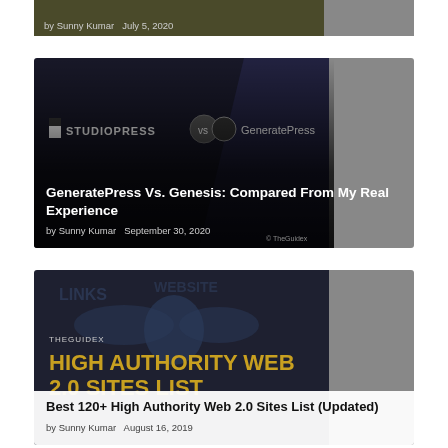[Figure (screenshot): Partial bottom of a blog card showing author and date: by Sunny Kumar, July 5, 2020]
by Sunny Kumar  July 5, 2020
[Figure (screenshot): Blog post card: StudioPress vs GeneratePress banner image. Title: GeneratePress Vs. Genesis: Compared From My Real Experience. by Sunny Kumar, September 30, 2020.]
GeneratePress Vs. Genesis: Compared From My Real Experience
by Sunny Kumar  September 30, 2020
[Figure (screenshot): Blog post card: High Authority Web 2.0 Sites List banner image with THEGUIDEX branding and golden bold text. Title: Best 120+ High Authority Web 2.0 Sites List (Updated). by Sunny Kumar, August 16, 2019.]
Best 120+ High Authority Web 2.0 Sites List (Updated)
by Sunny Kumar  August 16, 2019